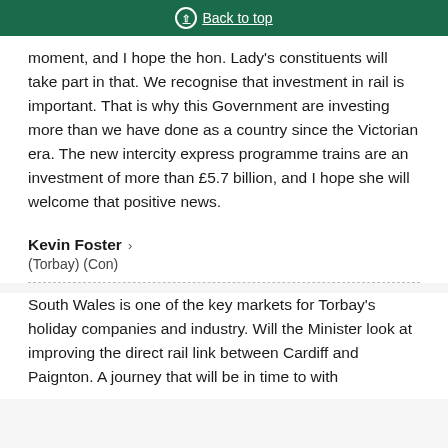Back to top
moment, and I hope the hon. Lady's constituents will take part in that. We recognise that investment in rail is important. That is why this Government are investing more than we have done as a country since the Victorian era. The new intercity express programme trains are an investment of more than £5.7 billion, and I hope she will welcome that positive news.
Kevin Foster ›
(Torbay) (Con)
South Wales is one of the key markets for Torbay's holiday companies and industry. Will the Minister look at improving the direct rail link between Cardiff and Paignton. A journey that will be in time to with